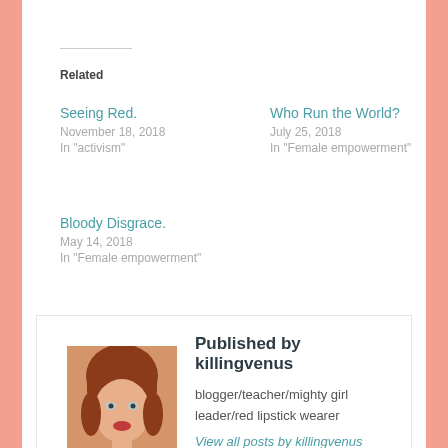Related
Seeing Red.
November 18, 2018
In "activism"
Who Run the World?
July 25, 2018
In "Female empowerment"
Bloody Disgrace.
May 14, 2018
In "Female empowerment"
Published by killingvenus
blogger/teacher/mighty girl leader/red lipstick wearer
View all posts by killingvenus